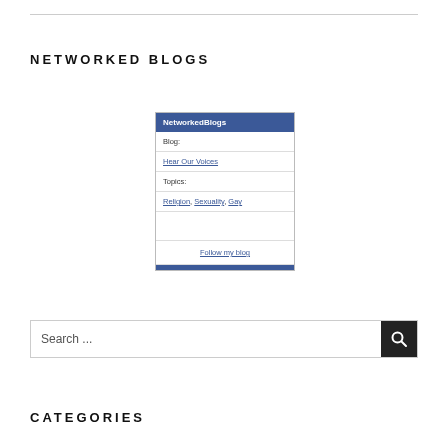NETWORKED BLOGS
[Figure (screenshot): NetworkedBlogs widget showing blog 'Hear Our Voices' with topics Religion, Sexuality, Gay and a Follow my blog link]
Search ...
CATEGORIES